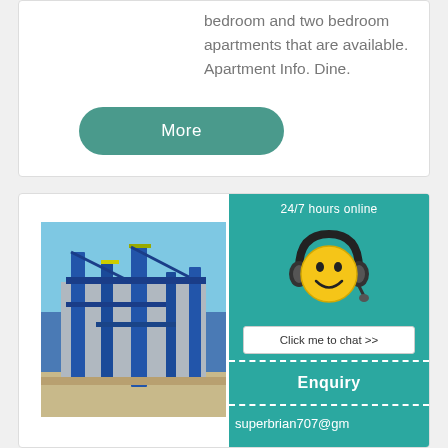bedroom and two bedroom apartments that are available. Apartment Info. Dine.
More
[Figure (photo): Industrial facility with blue metal structures, pipes, and equipment against a blue sky]
RI Apartments In Center Rumford One Two Bedroom
Beautiful Apartments... With over 190 apartments Rumford Center, you... the perfect floor plan... lifestyle. Each offers... maintenance-free life...
24/7 hours online
[Figure (illustration): Yellow smiley face emoji wearing a black headset/headphones with microphone]
Click me to chat >>
Enquiry
superbrian707@gm